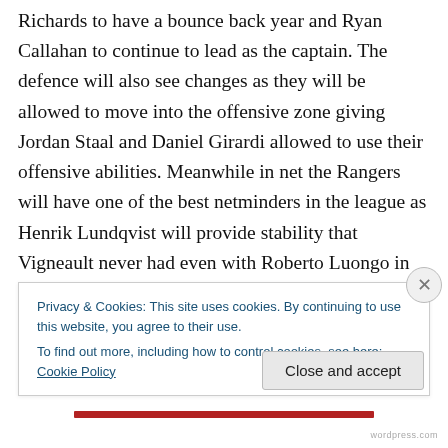Richards to have a bounce back year and Ryan Callahan to continue to lead as the captain. The defence will also see changes as they will be allowed to move into the offensive zone giving Jordan Staal and Daniel Girardi allowed to use their offensive abilities. Meanwhile in net the Rangers will have one of the best netminders in the league as Henrik Lundqvist will provide stability that Vigneault never had even with Roberto Luongo in Vancouver. The Rangers will enjoy this new attitude on their bench and a top three spot is in the cards and challenging from Canada their likely.
Privacy & Cookies: This site uses cookies. By continuing to use this website, you agree to their use.
To find out more, including how to control cookies, see here: Cookie Policy
Close and accept